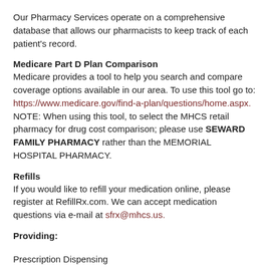Our Pharmacy Services operate on a comprehensive database that allows our pharmacists to keep track of each patient's record.
Medicare Part D Plan Comparison
Medicare provides a tool to help you search and compare coverage options available in our area. To use this tool go to: https://www.medicare.gov/find-a-plan/questions/home.aspx. NOTE: When using this tool, to select the MHCS retail pharmacy for drug cost comparison; please use SEWARD FAMILY PHARMACY rather than the MEMORIAL HOSPITAL PHARMACY.
Refills
If you would like to refill your medication online, please register at RefillRx.com. We can accept medication questions via e-mail at sfrx@mhcs.us.
Providing:
Prescription Dispensing
Medication Counseling